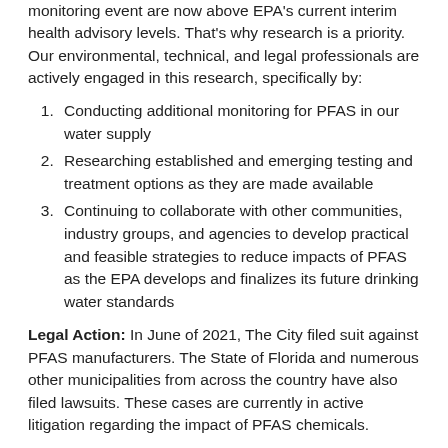monitoring event are now above EPA's current interim health advisory levels. That's why research is a priority. Our environmental, technical, and legal professionals are actively engaged in this research, specifically by:
Conducting additional monitoring for PFAS in our water supply
Researching established and emerging testing and treatment options as they are made available
Continuing to collaborate with other communities, industry groups, and agencies to develop practical and feasible strategies to reduce impacts of PFAS as the EPA develops and finalizes its future drinking water standards
Legal Action: In June of 2021, The City filed suit against PFAS manufacturers. The State of Florida and numerous other municipalities from across the country have also filed lawsuits. These cases are currently in active litigation regarding the impact of PFAS chemicals.
The City's Complaint alleges that the Defendants